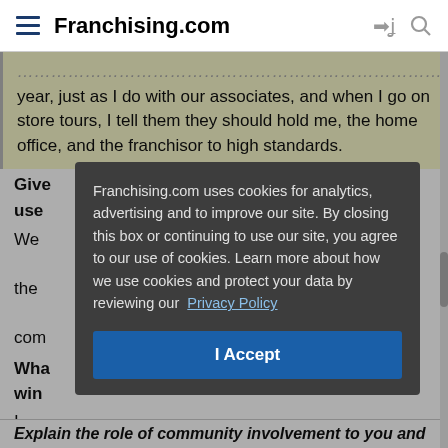Franchising.com
year, just as I do with our associates, and when I go on store tours, I tell them they should hold me, the home office, and the franchisor to high standards.
Give [partially obscured]
use [partially obscured]
We [partially obscured]
the [partially obscured]
com [partially obscured]
Wha [partially obscured]
win [partially obscured]
I be [partially obscured]
whe [partially obscured]
beca [partially obscured]
[Figure (screenshot): Cookie consent dialog overlay on Franchising.com website. Dark gray modal with text: 'Franchising.com uses cookies for analytics, advertising and to improve our site. By closing this box or continuing to use our site, you agree to our use of cookies. Learn more about how we use cookies and protect your data by reviewing our Privacy Policy' and a blue 'I Accept' button.]
Explain the role of community involvement to you and